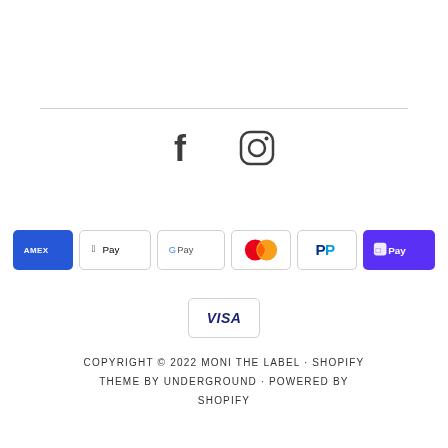[Figure (other): Horizontal divider line]
[Figure (other): Social media icons: Facebook and Instagram]
[Figure (other): Payment method badges: American Express, Apple Pay, Google Pay, Mastercard, PayPal, Shop Pay, and Visa]
COPYRIGHT © 2022 MONI THE LABEL • SHOPIFY THEME BY UNDERGROUND • POWERED BY SHOPIFY